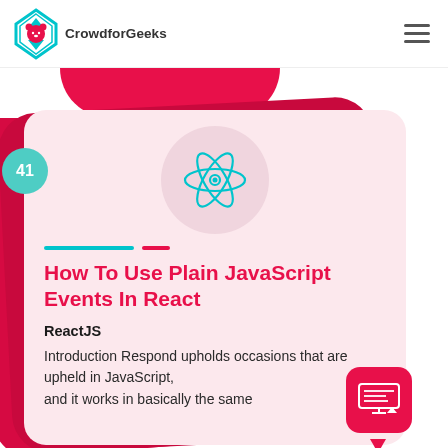CrowdforGeeks
[Figure (logo): CrowdforGeeks logo with teal diamond/arrow icon and pink bear face]
[Figure (illustration): React JS logo (cyan atomic orbits with center circle) on a light pink circular background]
How To Use Plain JavaScript Events In React
ReactJS
Introduction Respond upholds occasions that are upheld in JavaScript, and it works in basically the same